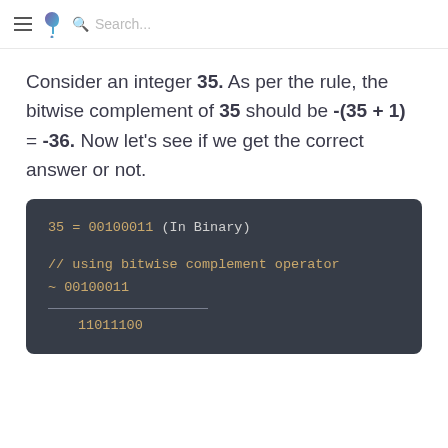≡ ? Search...
Consider an integer 35. As per the rule, the bitwise complement of 35 should be -(35 + 1) = -36. Now let's see if we get the correct answer or not.
[Figure (screenshot): Dark code block showing binary representation of 35 = 00100011 (In Binary), bitwise complement operation ~ 00100011, dividing line, result 11011100]